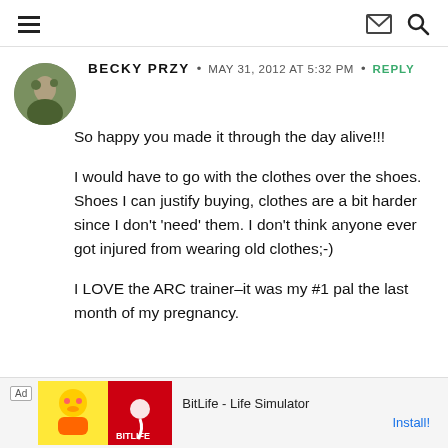Navigation header with hamburger menu, envelope icon, and search icon
BECKY PRZY • MAY 31, 2012 AT 5:32 PM • REPLY
So happy you made it through the day alive!!!
I would have to go with the clothes over the shoes. Shoes I can justify buying, clothes are a bit harder since I don't 'need' them. I don't think anyone ever got injured from wearing old clothes;-)
I LOVE the ARC trainer–it was my #1 pal the last month of my pregnancy.
[Figure (screenshot): Ad banner: BitLife - Life Simulator with Install button]